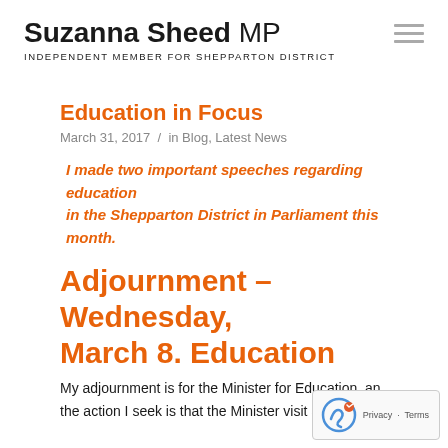Suzanna Sheed MP — INDEPENDENT MEMBER FOR SHEPPARTON DISTRICT
Education in Focus
March 31, 2017  /  in Blog, Latest News
I made two important speeches regarding education in the Shepparton District in Parliament this month.
Adjournment – Wednesday, March 8. Education
My adjournment is for the Minister for Education, and the action I seek is that the Minister visit Shepparton